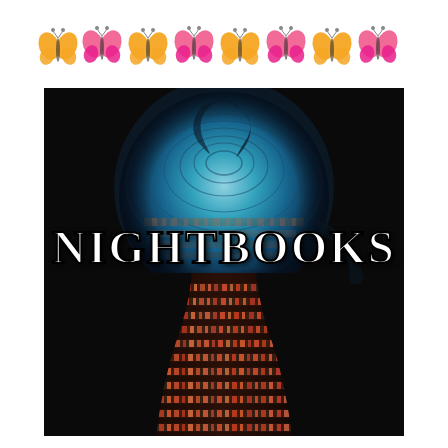[Figure (illustration): A row of alternating orange and pink butterfly decorations arranged horizontally across the top of the page.]
[Figure (illustration): Book cover of 'Nightbooks' featuring large white stylized serif text 'NIGHTBOOKS' over a dark/black background with a glowing blue spiral orb at the top and a tall keyhole or tower shape filled with colorful bookshelves spiraling downward.]